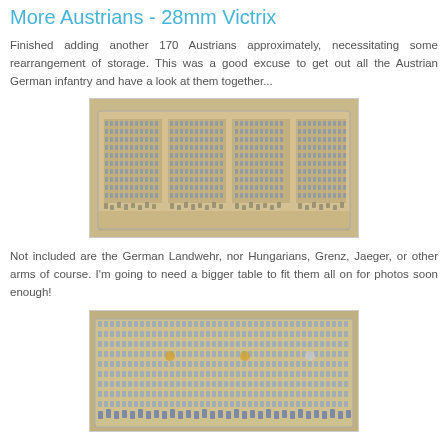More Austrians - 28mm Victrix
Finished adding another 170 Austrians approximately, necessitating some rearrangement of storage. This was a good excuse to get out all the Austrian German infantry and have a look at them together...
[Figure (photo): Large array of 28mm painted Austrian miniature soldiers arranged in formation on a tan/beige surface, viewed from a slight angle, showing multiple battalions in white uniforms.]
Not included are the German Landwehr, nor Hungarians, Grenz, Jaeger, or other arms of course. I'm going to need a bigger table to fit them all on for photos soon enough!
[Figure (photo): Another view of 28mm painted Austrian miniature soldiers in formation on a tan surface, showing command bases with flags visible among the ranks.]